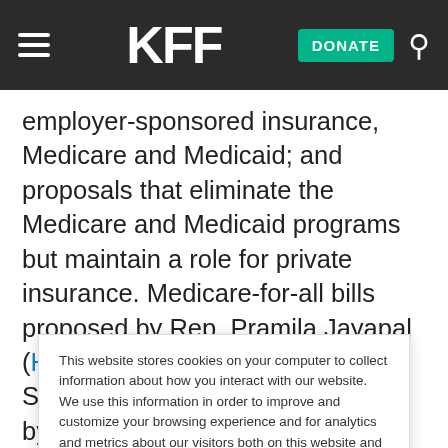KFF — DONATE
employer-sponsored insurance, Medicare and Medicaid; and proposals that eliminate the Medicare and Medicaid programs but maintain a role for private insurance. Medicare-for-all bills proposed by Rep. Pramila Jayapal (HR 1384) and Sen. Bernie Sanders (S. 1129) and endorsed by Presidential candidates Sen. Elizabeth Warren, Sen. Cory Booker, and Andrew Yang, also let the
This website stores cookies on your computer to collect information about how you interact with our website. We use this information in order to improve and customize your browsing experience and for analytics and metrics about our visitors both on this website and other media. To find out more about the cookies we use, see our Privacy Policy.
Accept